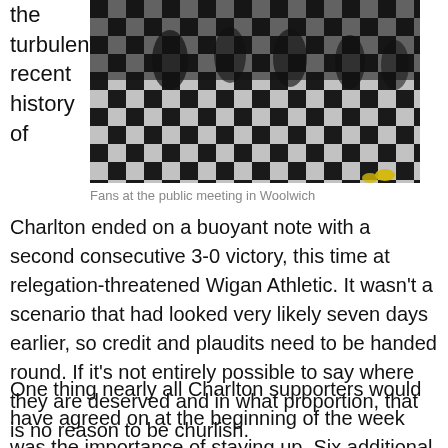the turbulent recent history of
[Figure (photo): Fans at the public meeting in Woolwich — people on a large black and white checkerboard floor]
Fans at the public meeting in Woolwich
Charlton ended on a buoyant note with a second consecutive 3-0 victory, this time at relegation-threatened Wigan Athletic. It wasn't a scenario that had looked very likely seven days earlier, so credit and plaudits need to be handed round. If it's not entirely possible to say where they are deserved and in what proportion, that is no reason to be churlish.
One thing nearly all Charlton supporters would have agreed on at the beginning of the week was the importance of staying up. Six additional points from two games - after a sequence of 14 league and cup matches without a single victory - have made that a